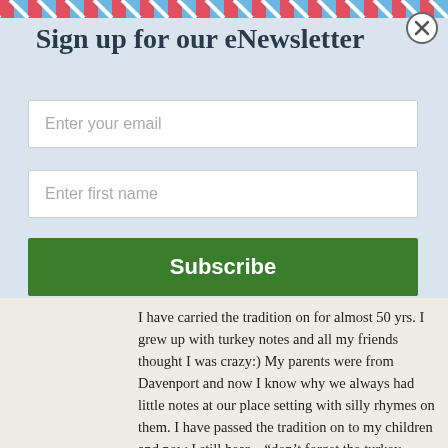Sign up for our eNewsletter
Enter your email
Enter first name
Subscribe
I have carried the tradition on for almost 50 yrs. I grew up with turkey notes and all my friends thought I was crazy:) My parents were from Davenport and now I know why we always had little notes at our place setting with silly rhymes on them. I have passed the tradition on to my children and now I still hear…“don’t forget the turkey notes”. Our stories have evolved to the farmer and the turkey always at odds with each other and the turkey not happy about his calling.:) Here’s a sampling:
Turkey Turkey not for sale
Turkey’s lookin’ a little pale.
Salt and pepper- a little juice,